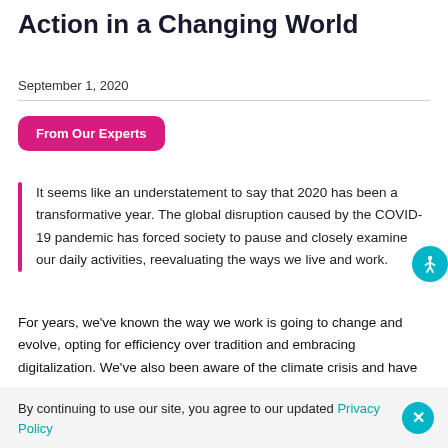The Importance of Sustainable Action in a Changing World
September 1, 2020
From Our Experts
It seems like an understatement to say that 2020 has been a transformative year. The global disruption caused by the COVID-19 pandemic has forced society to pause and closely examine our daily activities, reevaluating the ways we live and work.
For years, we’ve known the way we work is going to change and evolve, opting for efficiency over tradition and embracing digitalization. We’ve also been aware of the climate crisis and have
By continuing to use our site, you agree to our updated Privacy Policy